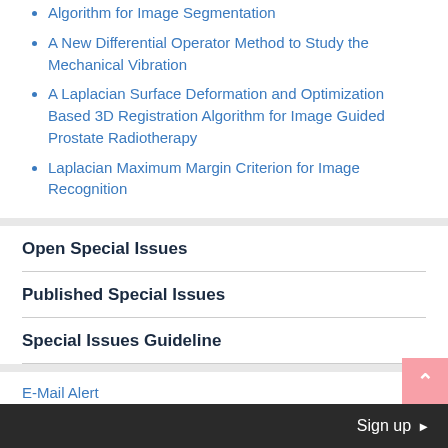Algorithm for Image Segmentation
A New Differential Operator Method to Study the Mechanical Vibration
A Laplacian Surface Deformation and Optimization Based 3D Registration Algorithm for Image Guided Prostate Radiotherapy
Laplacian Maximum Margin Criterion for Image Recognition
Open Special Issues
Published Special Issues
Special Issues Guideline
E-Mail Alert
JCC Subscription
Sign up